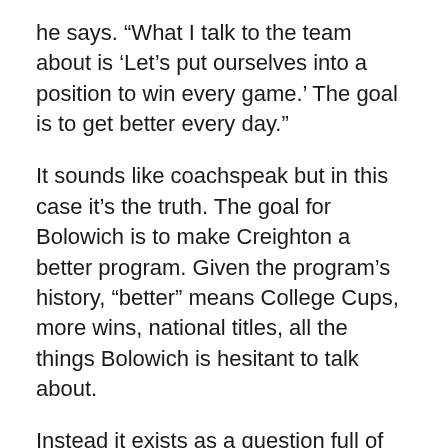he says. “What I talk to the team about is ‘Let’s put ourselves into a position to win every game.’ The goal is to get better every day.”
It sounds like coachspeak but in this case it’s the truth. The goal for Bolowich is to make Creighton a better program. Given the program’s history, “better” means College Cups, more wins, national titles, all the things Bolowich is hesitant to talk about.
Instead it exists as a question full of possibilities: Why not Creighton?
Creighton Women